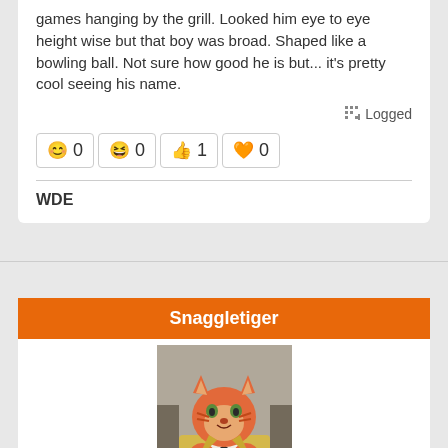games hanging by the grill. Looked him eye to eye height wise but that boy was broad. Shaped like a bowling ball. Not sure how good he is but... it's pretty cool seeing his name.
Logged
😊 0  😆 0  👍 1  🧡 0
WDE
Snaggletiger
[Figure (illustration): Illustrated avatar of an anthropomorphic tiger character wearing a yellow suit jacket and bow tie, with orange fur, appearing in a comic/cartoon style.]